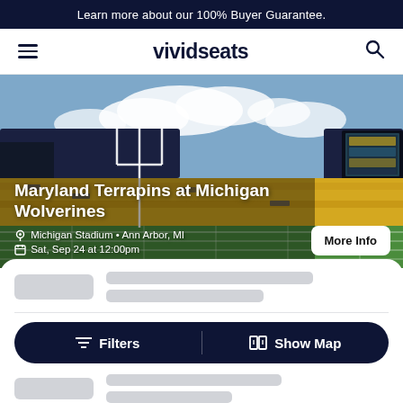Learn more about our 100% Buyer Guarantee.
[Figure (screenshot): Vivid Seats mobile website navigation bar with hamburger menu, vividseats logo, and search icon]
[Figure (photo): Michigan Stadium filled with fans in yellow and blue during a football game, with field goal posts visible]
Maryland Terrapins at Michigan Wolverines
Michigan Stadium • Ann Arbor, MI
Sat, Sep 24 at 12:00pm
More Info
[Figure (screenshot): Ticket listing interface with skeleton loader placeholders and Filters / Show Map button bar]